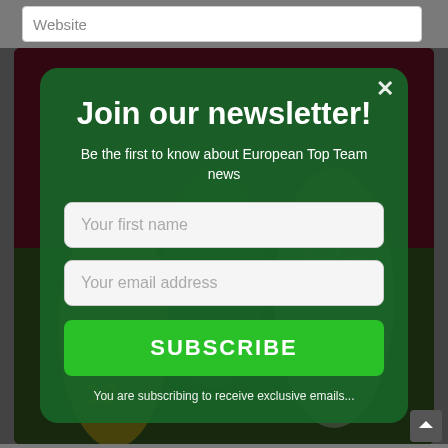Website
[Figure (photo): Soccer match background photo showing players in green and white jerseys, stadium with red seats in background]
Join our newsletter!
Be the first to know about European Top Team news
Your first name
Your email address
SUBSCRIBE
You are subscribing to receive exclusive emails...